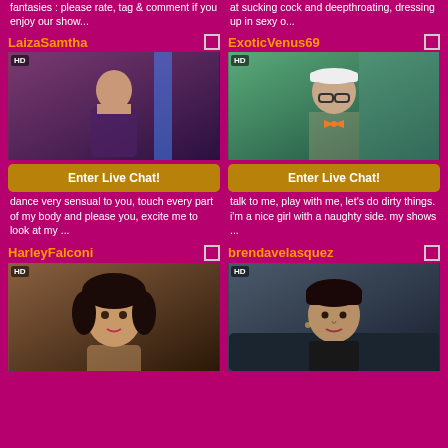fantasies : please rate, tag & comment if you enjoy our show...
at sucking cock and deepthroating, dressing up in sexy o...
LaizaSamtha
[Figure (photo): Live cam thumbnail of LaizaSamtha showing back view, HD badge]
Enter Live Chat!
ExoticVenus69
[Figure (photo): Live cam thumbnail of ExoticVenus69 with white cap, HD badge]
Enter Live Chat!
dance very sensual to you, touch every part of my body and please you, excite me to look at my ...
talk to me, play with me, let's do dirty things. i'm a nice girl with a naughty side. my shows ...
HarleyFalconi
[Figure (photo): Live cam thumbnail of HarleyFalconi with curly dark hair, HD badge]
brendavelasquez
[Figure (photo): Live cam thumbnail of brendavelasquez with short dark hair, HD badge]